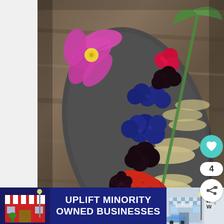[Figure (photo): Food photo showing a plated dessert or fruit dish on a dark slate plate. The dish features mixed berries including blueberries, blackberries, raspberries, and strawberries arranged over what appears to be crumbled white cheese or grain. A pink/purple orchid flower decorates the top left corner, and a green palm leaf stem crosses the plate diagonally. The background is a wooden surface. Social interaction buttons (heart/like and share) are visible on the right side, along with a like count of 4.]
[Figure (infographic): Advertisement banner at the bottom: dark navy blue background with storefront icons on both sides. Text reads 'UPLIFT MINORITY OWNED BUSINESSES' in large white bold uppercase letters. Left side shows a red striped storefront illustration, right side shows a lighter storefront. A close button (X) appears top right of the ad. A weather icon showing 'W°' appears on the far right.]